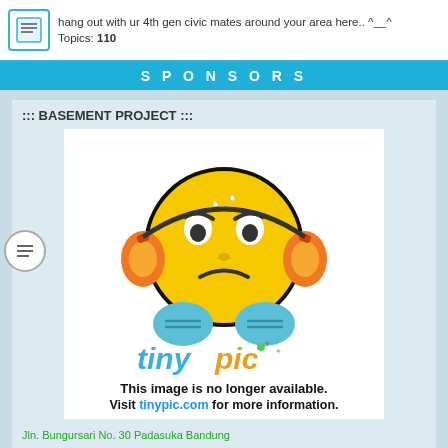hang out with ur 4th gen civic mates around your area here.. ^__^
Topics: 110
SPONSORS
::: BASEMENT PROJECT :::
[Figure (illustration): Tinypic placeholder image showing a cartoon sad emoji with headphones and text 'This image is no longer available. Visit tinypic.com for more information.']
Jln. Bungursari No. 30 Padasuka Bandung
CP: YUKHI (022) 91 666 862 - 081 221 88622
konveksi umum, baju distro, t-shirt, poloshirt, kemeja, seragam, training pack, cutting sticker, gantungan kunci, dsb
Moderator: basementproject